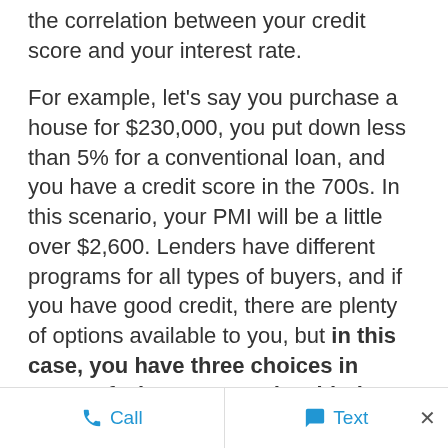the correlation between your credit score and your interest rate.
For example, let’s say you purchase a house for $230,000, you put down less than 5% for a conventional loan, and you have a credit score in the 700s. In this scenario, your PMI will be a little over $2,600. Lenders have different programs for all types of buyers, and if you have good credit, there are plenty of options available to you, but in this case, you have three choices in terms of what you can do with that PMI.
First, you can take that entire $2,600 sum and add it into your loan. In effect, you would
Call   Text